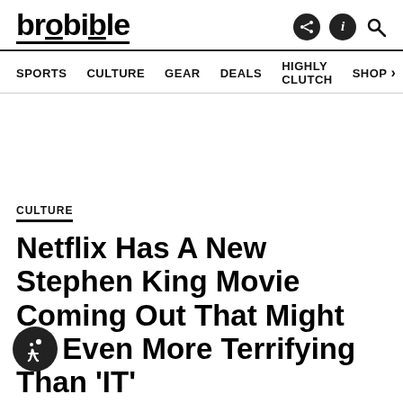brobible
SPORTS  CULTURE  GEAR  DEALS  HIGHLY CLUTCH  SHOP
Netflix Has A New Stephen King Movie Coming Out That Might Be Even More Terrifying Than 'IT'
#STEPHEN KING
BY DOUGLAS CHARLES / SEPTEMBER 7, 2017